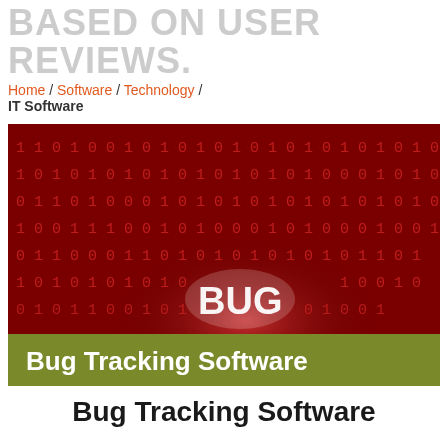BASED ON USER REVIEWS.
Home / Software / Technology / IT Software
[Figure (photo): Red background with binary code (0s and 1s) and the word BUG in white text in the center, with a green olive banner overlay reading Bug Tracking Software]
Bug Tracking Software